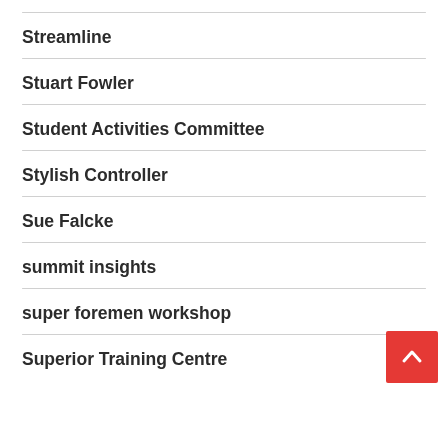Streamline
Stuart Fowler
Student Activities Committee
Stylish Controller
Sue Falcke
summit insights
super foremen workshop
Superior Training Centre